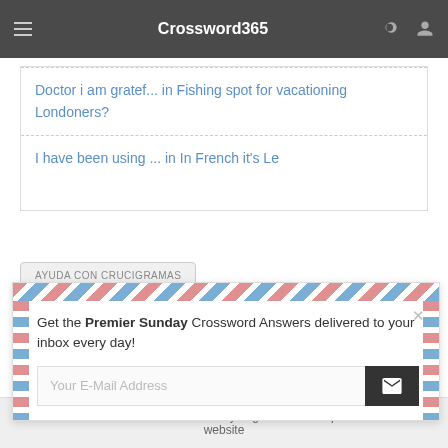Crossword365
Doctor i am gratef... in Fishing spot for vacationing Londoners?
I have been using ... in In French it's Le
AYUDA CON CRUCIGRAMAS
Get the Premier Sunday Crossword Answers delivered to your inbox every day!
Your E-Mail Address
This website uses cookies to ensure you get the best experience on our website